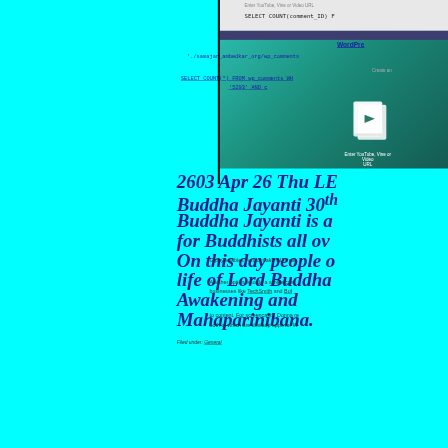[Figure (screenshot): Screenshot of a web browser/CMS interface showing SQL query text, WordPress link, file path, and a video embed dialog with a play button icon, overlaid on a teal/green gradient panel]
2603 Apr 26 Thu LE Buddha Jayanti 30th Buddha Jayanti is a for Buddhists all ov
On this day people o life of Lord Buddha Awakening and Mahaparinibana.
Giphy enables you to make GIFs eas Another option is to do a screencast, businesses like TechSmith and Buf to content. For screencasts, Donna r both of which are desktop apps for W
Filed under: General